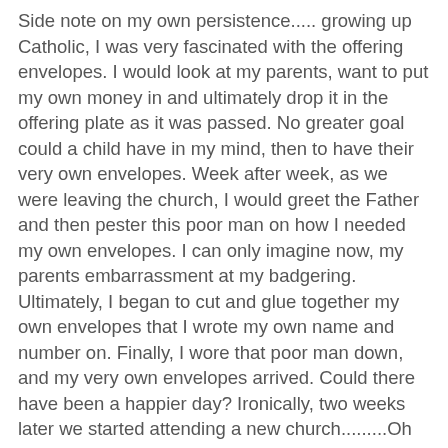Side note on my own persistence..... growing up Catholic, I was very fascinated with the offering envelopes. I would look at my parents, want to put my own money in and ultimately drop it in the offering plate as it was passed. No greater goal could a child have in my mind, then to have their very own envelopes. Week after week, as we were leaving the church, I would greet the Father and then pester this poor man on how I needed my own envelopes. I can only imagine now, my parents embarrassment at my badgering. Ultimately, I began to cut and glue together my own envelopes that I wrote my own name and number on. Finally, I wore that poor man down, and my very own envelopes arrived. Could there have been a happier day? Ironically, two weeks later we started attending a new church.........Oh yea.
Back to Uncle Cal...... the memory of him that has never left me and probably has shaped me into the person I am today, started out innocently enough. Uncle Cal and another adult were discussing their jobs and different aspects that a 10 year old can not understand. After listening to their exchange, I pipe in, "Well, when I grow up I am going to get a job and I am going to love it and make lots of money and